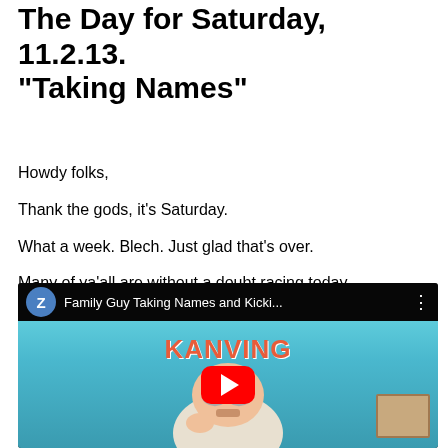The Day for Saturday, 11.2.13. “Taking Names”
Howdy folks,
Thank the gods, it’s Saturday.
What a week. Blech. Just glad that’s over.
Many of ya’all are without a doubt racing today.
Enjoy yourselves out there! Kick ass & take names.
[Figure (screenshot): YouTube video embed showing 'Family Guy Taking Names and Kicki...' with a cartoon character visible and the YouTube play button overlay.]